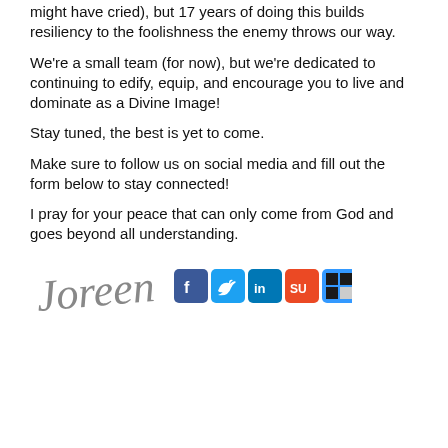might have cried), but 17 years of doing this builds resiliency to the foolishness the enemy throws our way.
We're a small team (for now), but we're dedicated to continuing to edify, equip, and encourage you to live and dominate as a Divine Image!
Stay tuned, the best is yet to come.
Make sure to follow us on social media and fill out the form below to stay connected!
I pray for your peace that can only come from God and goes beyond all understanding.
[Figure (illustration): Handwritten signature 'Joreen' in cursive script, alongside social media icons for Facebook, Twitter, LinkedIn, StumbleUpon, and Delicious.]